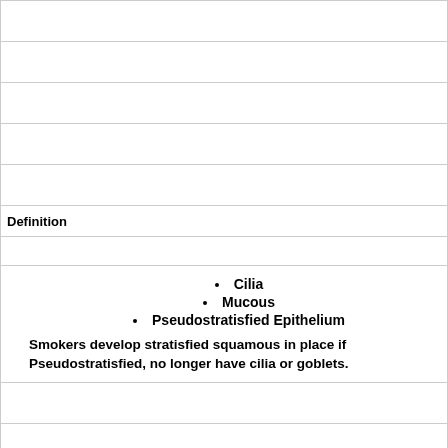Definition
Cilia
Mucous
Pseudostratisfied Epithelium
Smokers develop stratisfied squamous in place if Pseudostratisfied, no longer have cilia or goblets.
Term